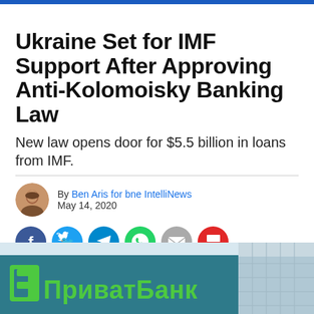Ukraine Set for IMF Support After Approving Anti-Kolomoisky Banking Law
New law opens door for $5.5 billion in loans from IMF.
By Ben Aris for bne IntelliNews
May 14, 2020
[Figure (other): Social sharing buttons: Facebook (blue), Twitter (light blue), Telegram (blue), WhatsApp (green), Email (grey), Flipboard (red)]
[Figure (photo): Bottom photo of PrivatBank building sign showing green Cyrillic text ПриватБанк on a dark teal/blue background]